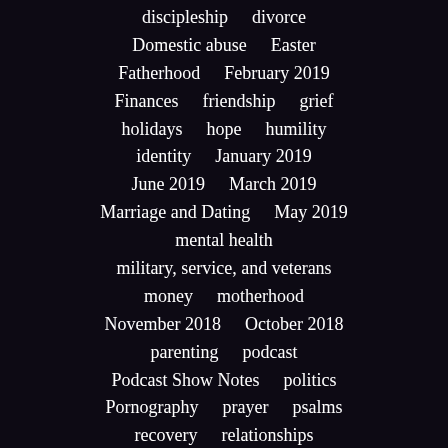discipleship   divorce
Domestic abuse   Easter
Fatherhood   February 2019
Finances   friendship   grief
holidays   hope   humility
identity   January 2019
June 2019   March 2019
Marriage and Dating   May 2019
mental health
military, service, and veterans
money   motherhood
November 2018   October 2018
parenting   podcast
Podcast Show Notes   politics
Pornography   prayer   psalms
recovery   relationships
Rest Stop   Sexual Health
... ...